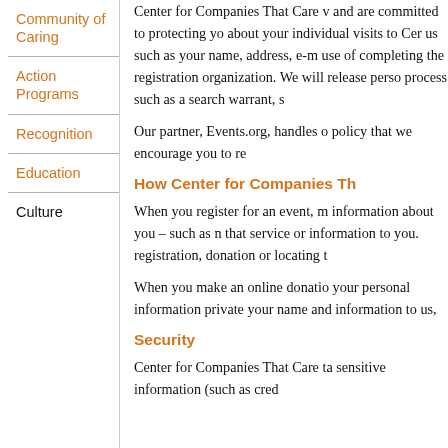Community of Caring
Action Programs
Recognition
Education
Culture
Center for Companies That Care v and are committed to protecting yo about your individual visits to Cer us such as your name, address, e-m use of completing the registration organization. We will release perso process such as a search warrant, s
Our partner, Events.org, handles o policy that we encourage you to re
How Center for Companies Th
When you register for an event, m information about you – such as n that service or information to you. registration, donation or locating t
When you make an online donatio your personal information private your name and information to us,
Security
Center for Companies That Care ta sensitive information (such as cred